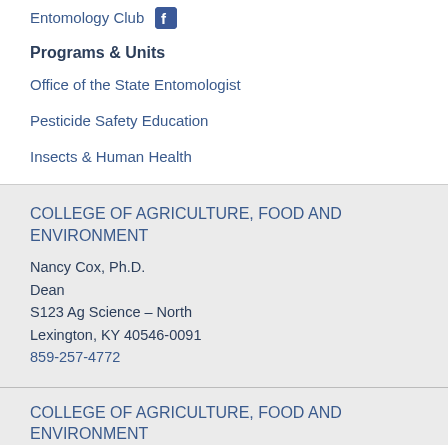Entomology Club
Programs & Units
Office of the State Entomologist
Pesticide Safety Education
Insects & Human Health
COLLEGE OF AGRICULTURE, FOOD AND ENVIRONMENT
Nancy Cox, Ph.D.
Dean
S123 Ag Science – North
Lexington, KY 40546-0091
859-257-4772
COLLEGE OF AGRICULTURE, FOOD AND ENVIRONMENT